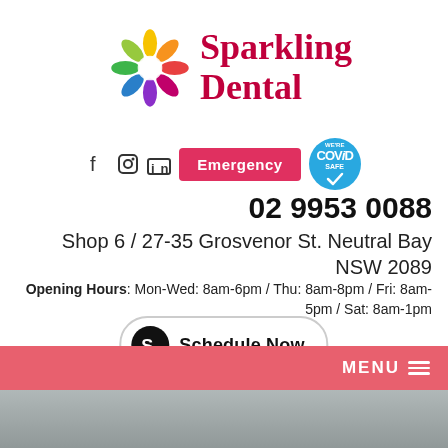[Figure (logo): Sparkling Dental colorful flower logo with brand name in red serif font]
[Figure (infographic): Social media icons (f, camera, in), red Emergency button, blue COVID SAFE circular badge]
02 9953 0088
Shop 6 / 27-35 Grosvenor St. Neutral Bay NSW 2089
Opening Hours: Mon-Wed: 8am-6pm / Thu: 8am-8pm / Fri: 8am-5pm / Sat: 8am-1pm
[Figure (other): Schedule Now button with S-logo icon]
MENU
[Figure (other): Bottom blurred gray area]